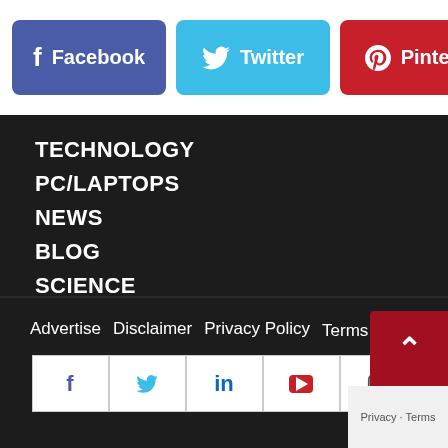[Figure (screenshot): Social media share buttons row: Facebook (dark blue), Twitter (light blue), Pinterest (red), LinkedIn (light blue, partially cut off)]
TECHNOLOGY
PC/LAPTOPS
NEWS
BLOG
SCIENCE
INTERNET
SOFTWARE & SERVICES
ENTERTAINMENT
GREETINGS & WISHES
Advertise   Disclaimer   Privacy Policy   Terms & Conditions
[Figure (screenshot): Footer social media icon buttons: Facebook, Twitter, LinkedIn, YouTube, Instagram]